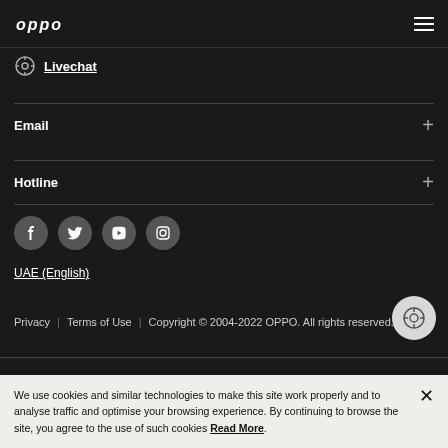OPPO
Livechat
Email
Hotline
[Figure (other): Social media icons: Facebook, Twitter, YouTube, Instagram]
UAE (English)
Privacy | Terms of Use | Copyright © 2004-2022 OPPO. All rights reserved.
We use cookies and similar technologies to make this site work properly and to analyse traffic and optimise your browsing experience. By continuing to browse the site, you agree to the use of such cookies Read More.